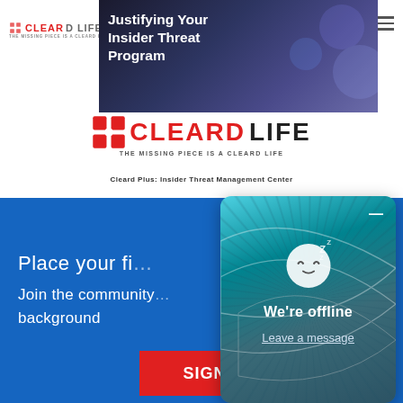[Figure (screenshot): Hero banner image with dark blue/purple background showing text 'Justifying Your Insider Threat Program' in white bold font]
[Figure (logo): CLEARD LIFE logo with puzzle piece icon and tagline 'THE MISSING PIECE IS A CLEARD LIFE']
Cleard Plus: Insider Threat Management Center
Place your fi...
Join the community ... background
[Figure (screenshot): Chat widget popup showing sleeping emoji face, 'We're offline', and 'Leave a message' link on teal swirling background]
SIGN